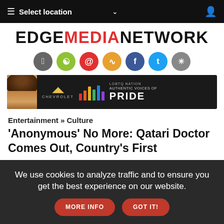≡ Select location ∨ 👤
[Figure (logo): Edge Media Network logo with EDGE and NETWORK in black, MEDIA in red]
[Figure (infographic): Row of social media icon circles: Apple (grey), Android (green), Email (red), RSS (orange), Facebook (blue), Twitter (light blue), Instagram (grey)]
[Figure (photo): Chevrolet × LGBTQ Nation Authentic Voices of Pride advertisement banner with a person with curly hair, Chevrolet bowtie logo, colorful bars, and PRIDE text]
Entertainment » Culture
'Anonymous' No More: Qatari Doctor Comes Out, Country's First
Sunday May 29, 2022
Originally published on May 22, 2022
We use cookies to analyze traffic and to ensure you get the best experience on our website. MORE INFO GOT IT!